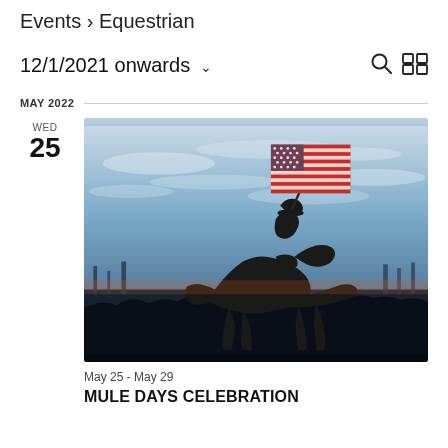Events > Equestrian
12/1/2021 onwards
MAY 2022
[Figure (photo): Silhouette of a rider on horseback carrying an American flag against a blue sky with clouds at dusk, with crowd and arena structures visible in the background.]
May 25 - May 29
MULE DAYS CELEBRATION